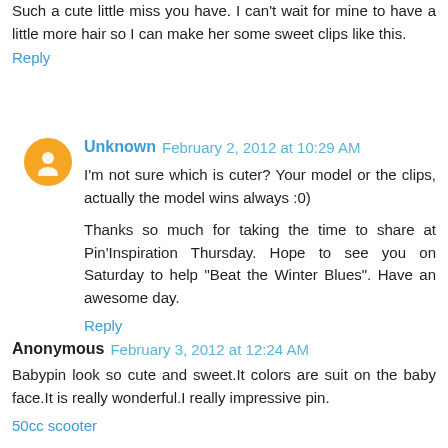Such a cute little miss you have. I can't wait for mine to have a little more hair so I can make her some sweet clips like this.
Reply
Unknown  February 2, 2012 at 10:29 AM
I'm not sure which is cuter? Your model or the clips, actually the model wins always :0)
Thanks so much for taking the time to share at Pin'Inspiration Thursday. Hope to see you on Saturday to help "Beat the Winter Blues". Have an awesome day.
Reply
Anonymous  February 3, 2012 at 12:24 AM
Babypin look so cute and sweet.It colors are suit on the baby face.It is really wonderful.I really impressive pin.
50cc scooter